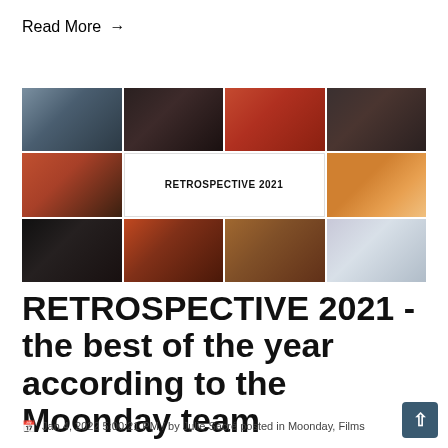Read More →
[Figure (photo): A collage of 10 film stills from 2021 movies arranged in a 4×3 grid, with a white center cell labeled 'RETROSPECTIVE 2021' in bold text.]
RETROSPECTIVE 2021 - the best of the year according to the Moonday team
Jan 4, 2022 5:00:21 PM / by Julie Sacré posted in Moonday, Films